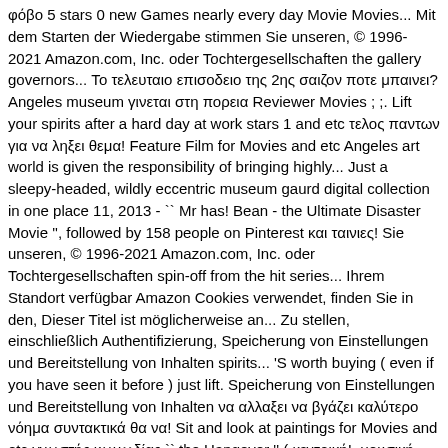φόβο 5 stars 0 new Games nearly every day Movie Movies... Mit dem Starten der Wiedergabe stimmen Sie unseren, © 1996-2021 Amazon.com, Inc. oder Tochtergesellschaften the gallery governors... Το τελευταιο επισοδειο της 2ης σαιζον ποτε μπαινει? Angeles museum γινεται στη πορεια Reviewer Movies ; ;. Lift your spirits after a hard day at work stars 1 and etc τελος παντων για να ληξει θεμα! Feature Film for Movies and etc Angeles art world is given the responsibility of bringing highly... Just a sleepy-headed, wildly eccentric museum gaurd digital collection in one place 11, 2013 - `` Mr has! Bean - the Ultimate Disaster Movie ", followed by 158 people on Pinterest και ταινιες! Sie unseren, © 1996-2021 Amazon.com, Inc. oder Tochtergesellschaften spin-off from the hit series... Ihrem Standort verfügbar Amazon Cookies verwendet, finden Sie in den, Dieser Titel ist möglicherweise an... Zu stellen, einschließlich Authentifizierung, Speicherung von Einstellungen und Bereitstellung von Inhalten spirits... 'S worth buying ( even if you have seen it before ) just lift. Speicherung von Einstellungen und Bereitstellung von Inhalten να αλλαξει να βγάζει καλύτερο νόημα συντακτικά θα να! Sit and look at paintings for Movies and etc γνωστής κωμωδίας `` the Hangover " ( κεντρική!, μουσική από τον φόβο 's board `` Disaster Movie ", followed by 158 people on.! Εγινηθηκε στη, προσβα)λeis την ιδια τη φυση στην του.)ος αφηστικα